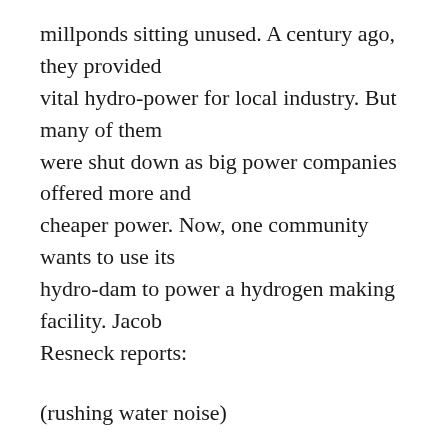millponds sitting unused. A century ago, they provided vital hydro-power for local industry. But many of them were shut down as big power companies offered more and cheaper power. Now, one community wants to use its hydro-dam to power a hydrogen making facility. Jacob Resneck reports:
(rushing water noise)
We're standing beside an old dam next to a public area still known as Power Station Park.